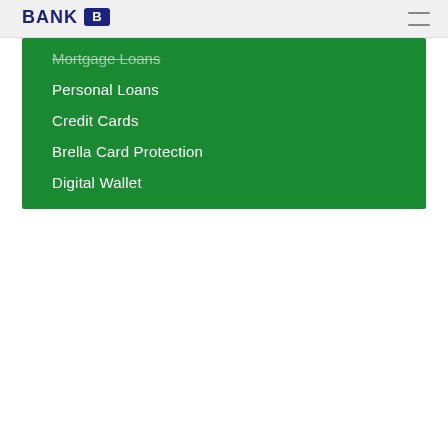BANK [logo]
Mortgage Loans
Personal Loans
Credit Cards
Brella Card Protection
Digital Wallet